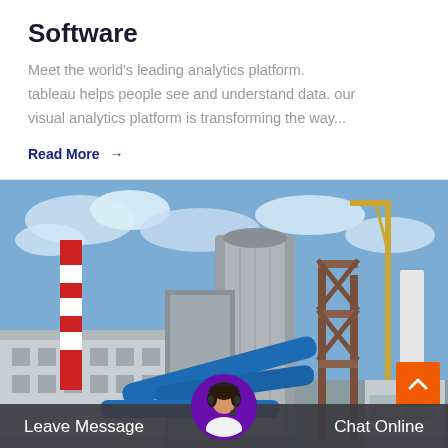Software
Meet the world's leading analytics platform. tableau helps people see and understand data. our visual analytics platform is transforming the way...
Read More →
[Figure (photo): Industrial facility with large metal silos, blue pipes, a red and white striped chimney, cranes, and white cylindrical towers under a partly cloudy sky.]
Leave Message
Chat Online